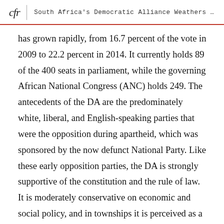cfr | South Africa's Democratic Alliance Weathers Twit...
has grown rapidly, from 16.7 percent of the vote in 2009 to 22.2 percent in 2014. It currently holds 89 of the 400 seats in parliament, while the governing African National Congress (ANC) holds 249. The antecedents of the DA are the predominately white, liberal, and English-speaking parties that were the opposition during apartheid, which was sponsored by the now defunct National Party. Like these early opposition parties, the DA is strongly supportive of the constitution and the rule of law. It is moderately conservative on economic and social policy, and in townships it is perceived as a “white” party.
The DA now commands the electoral support of